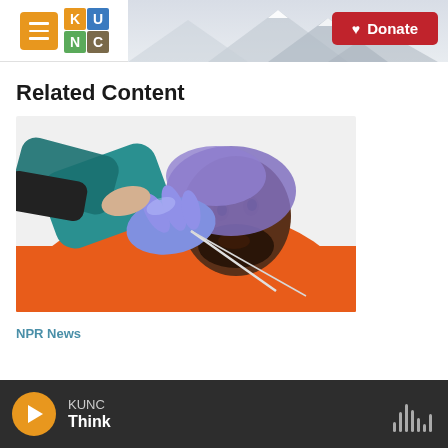KUNC | Donate
Related Content
[Figure (photo): Medical professional wearing teal scrubs and blue latex gloves administering a nasal swab or medical procedure to a man with a beard wearing an orange jacket, who is lying back with his head tilted.]
NPR News